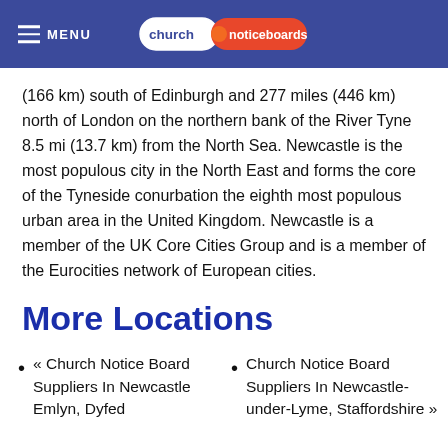MENU | church noticeboards (logo)
(166 km) south of Edinburgh and 277 miles (446 km) north of London on the northern bank of the River Tyne 8.5 mi (13.7 km) from the North Sea. Newcastle is the most populous city in the North East and forms the core of the Tyneside conurbation the eighth most populous urban area in the United Kingdom. Newcastle is a member of the UK Core Cities Group and is a member of the Eurocities network of European cities.
More Locations
« Church Notice Board Suppliers In Newcastle Emlyn, Dyfed
Church Notice Board Suppliers In Newcastle-under-Lyme, Staffordshire »